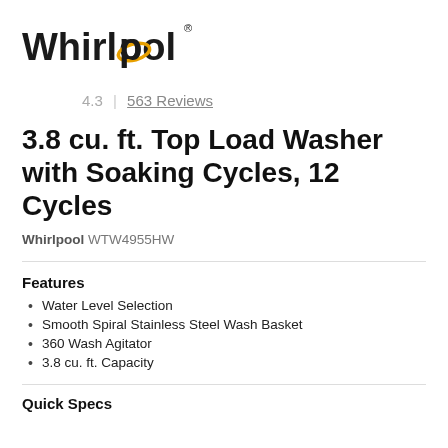[Figure (logo): Whirlpool brand logo with stylized text and orange swirl/ring graphic]
4.3 | 563 Reviews
3.8 cu. ft. Top Load Washer with Soaking Cycles, 12 Cycles
Whirlpool WTW4955HW
Features
Water Level Selection
Smooth Spiral Stainless Steel Wash Basket
360 Wash Agitator
3.8 cu. ft. Capacity
Quick Specs